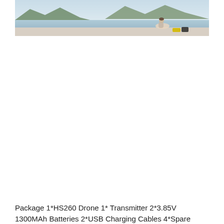[Figure (photo): Outdoor photo showing a person sitting on a waterfront promenade with mountains and water in the background, holding something small. A yellow object (possibly a drone case) is visible nearby on the ground.]
Package 1*HS260 Drone 1* Transmitter 2*3.85V 1300MAh Batteries 2*USB Charging Cables 4*Spare Propellers